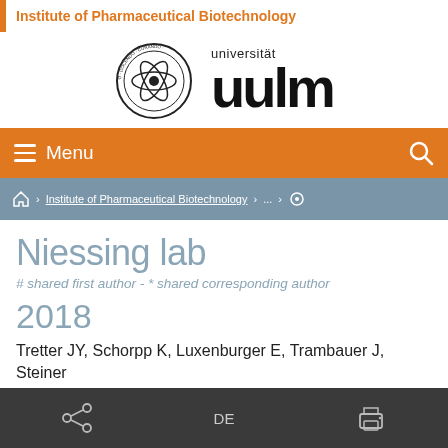Institute of Pharmaceutical Biotechnology
[Figure (logo): Universität Ulm logo with circular seal and 'u ulm' text wordmark]
[Figure (screenshot): Orange navigation menu bar with hamburger menu icon, 'Menu' label, and search icon]
⌂ › Institute of Pharmaceutical Biotechnology › ... › ⊙
Niessing lab
# shared first author  -  * shared corresponding author
2018
Tretter JY, Schorpp K, Luxenburger E, Trambauer J, Steiner
DE